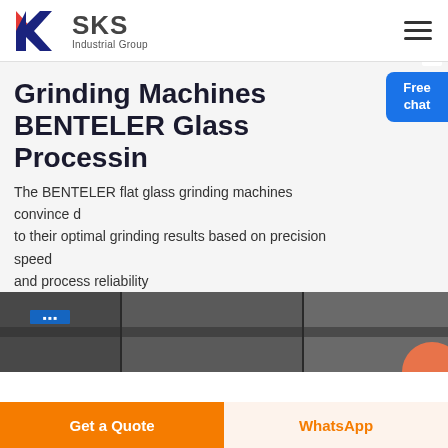[Figure (logo): SKS Industrial Group logo with red and blue K-shaped mark and bold SKS text]
Grinding Machines BENTELER Glass Processing
The BENTELER flat glass grinding machines convince due to their optimal grinding results based on precision speed and process reliability
[Figure (photo): Industrial grinding machine in a factory setting, dark tones with machinery visible]
Get a Quote
WhatsApp